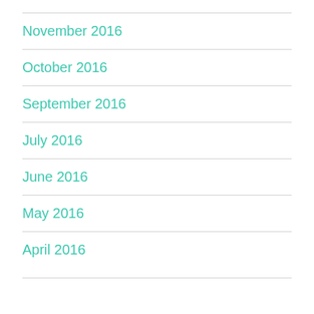November 2016
October 2016
September 2016
July 2016
June 2016
May 2016
April 2016